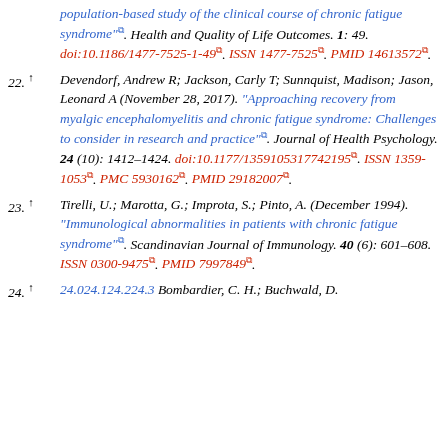population-based study of the clinical course of chronic fatigue syndrome". Health and Quality of Life Outcomes. 1: 49. doi:10.1186/1477-7525-1-49. ISSN 1477-7525. PMID 14613572.
22. ^ Devendorf, Andrew R; Jackson, Carly T; Sunnquist, Madison; Jason, Leonard A (November 28, 2017). "Approaching recovery from myalgic encephalomyelitis and chronic fatigue syndrome: Challenges to consider in research and practice". Journal of Health Psychology. 24 (10): 1412–1424. doi:10.1177/1359105317742195. ISSN 1359-1053. PMC 5930162. PMID 29182007.
23. ^ Tirelli, U.; Marotta, G.; Improta, S.; Pinto, A. (December 1994). "Immunological abnormalities in patients with chronic fatigue syndrome". Scandinavian Journal of Immunology. 40 (6): 601–608. ISSN 0300-9475. PMID 7997849.
24. ^ 24.024.124.224.3 Bombardier, C. H.; Buchwald, D.